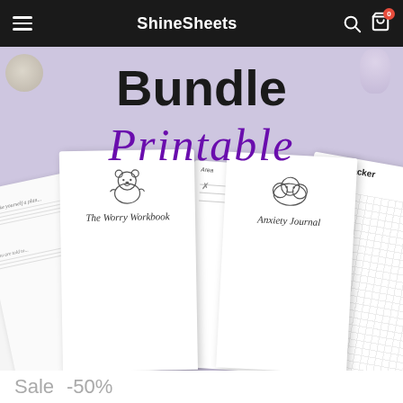ShineSheets
[Figure (photo): Promotional banner for ShineSheets Bundle Printable product showing multiple printable worksheets including The Worry Workbook, Anxiety Journal, Mood Chart, Anxiety Tracker, and Sleep Tracker fanned out on a lavender background with the words 'Bundle Printable' overlaid in bold black and purple script text]
Sale  -50%